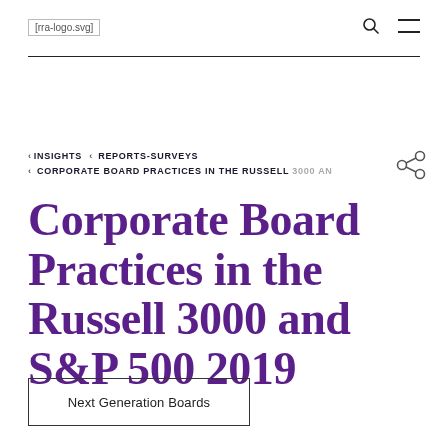[rra-logo.svg]
‹ INSIGHTS ‹ REPORTS-SURVEYS ‹ CORPORATE BOARD PRACTICES IN THE RUSSELL 3000 AN
Corporate Board Practices in the Russell 3000 and S&P 500 2019
Next Generation Boards